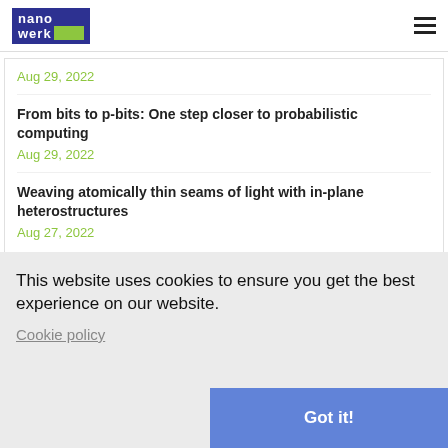nanowerk
Aug 29, 2022
From bits to p-bits: One step closer to probabilistic computing
Aug 29, 2022
Weaving atomically thin seams of light with in-plane heterostructures
Aug 27, 2022
This website uses cookies to ensure you get the best experience on our website.
Cookie policy
Got it!